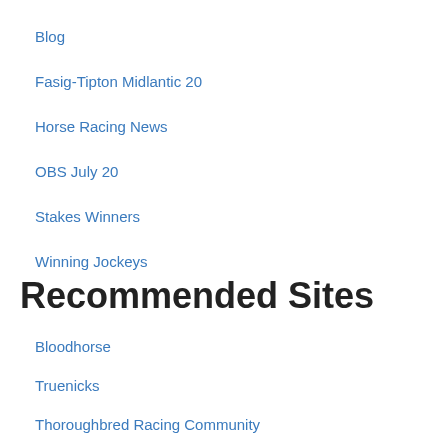Blog
Fasig-Tipton Midlantic 20
Horse Racing News
OBS July 20
Stakes Winners
Winning Jockeys
Recommended Sites
Bloodhorse
Truenicks
Thoroughbred Racing Community
Equibase